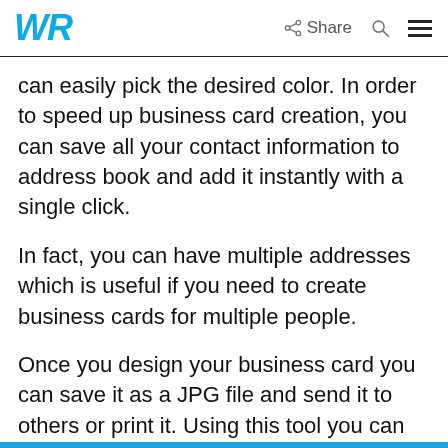WR  Share
can easily pick the desired color. In order to speed up business card creation, you can save all your contact information to address book and add it instantly with a single click.
In fact, you can have multiple addresses which is useful if you need to create business cards for multiple people.
Once you design your business card you can save it as a JPG file and send it to others or print it. Using this tool you can also add business cards to emails and send them to others.
MyProfessional Business Cards is a decent tool that can help you create your own business card from scratch.